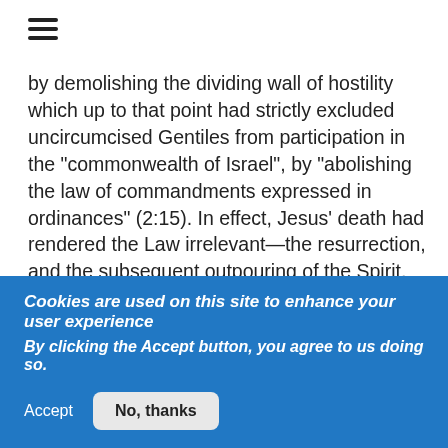[Figure (other): Hamburger menu icon (three horizontal lines)]
by demolishing the 'dividing wall of hostility' which up to that point had strictly excluded uncircumcised Gentiles from participation in the "commonwealth of Israel", by "abolishing the law of commandments expressed in ordinances" (2:15). In effect, Jesus' death had rendered the Law irrelevant—the resurrection, and the subsequent outpouring of the Spirit, had demonstrated clearly that the coming eschatological crisis had to be faced not on the basis of Law but on the basis of concrete, resolute, obedient trust in
Cookies are used on this site to enhance your user experience
By clicking the Accept button, you agree to us doing so.
Accept
No, thanks